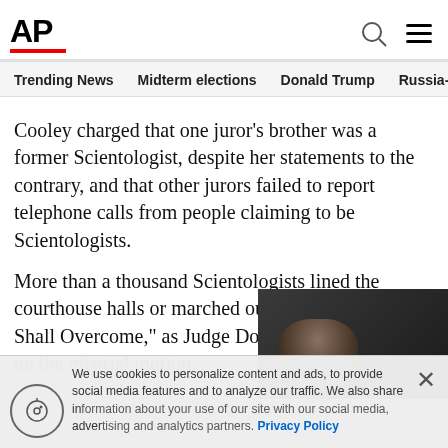AP
Trending News   Midterm elections   Donald Trump   Russia-Ukr
Cooley charged that one juror's brother was a former Scientologist, despite her statements to the contrary, and that other jurors failed to report telephone calls from people claiming to be Scientologists.
More than a thousand Scientologists lined the courthouse halls or marched outside, singing "We Shall Overcome," as Judge Donald H. Lo… on the mistrial motion.
We use cookies to personalize content and ads, to provide social media features and to analyze our traffic. We also share information about your use of our site with our social media, advertising and analytics partners. Privacy Policy